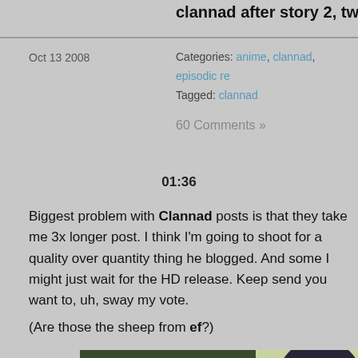clannad after story 2, twitter
Oct 13 2008
Categories: anime, clannad, episodic re
Tagged: clannad
60 Comments »
01:36
Biggest problem with Clannad posts is that they take me 3x longer post. I think I'm going to shoot for a quality over quantity thing he blogged. And some I might just wait for the HD release. Keep send you want to, uh, sway my vote.
(Are those the sheep from ef?)
[Figure (screenshot): Anime screenshot showing a character with dark hair in front of a dark green background with a light colored wall/window area.]